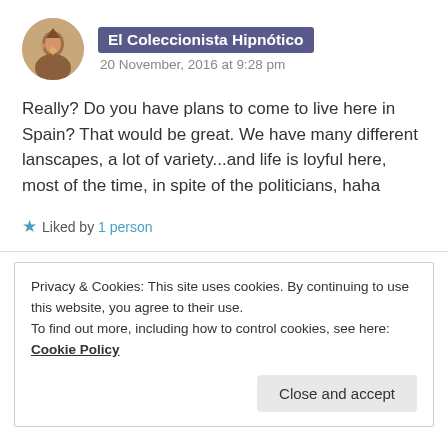El Coleccionista Hipnótico — 20 November, 2016 at 9:28 pm
Really? Do you have plans to come to live here in Spain? That would be great. We have many different lanscapes, a lot of variety...and life is loyful here, most of the time, in spite of the politicians, haha
★ Liked by 1 person
Privacy & Cookies: This site uses cookies. By continuing to use this website, you agree to their use.
To find out more, including how to control cookies, see here: Cookie Policy
Close and accept
has those politicians haha 🙂 but it would be nice